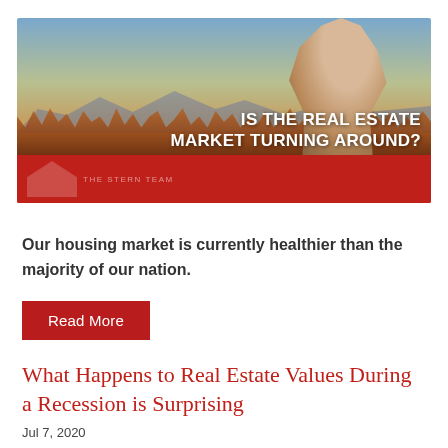[Figure (photo): Hero banner image showing a man in a suit smiling, with a cityscape and mountains in the background, a red bar at the bottom, white text reading 'IS THE REAL ESTATE MARKET TURNING AROUND?' and a small house logo on the left of the red bar.]
Our housing market is currently healthier than the majority of our nation.
Read More
What Happens to Real Estate Values During a Recession is Surprising
Jul 7, 2020